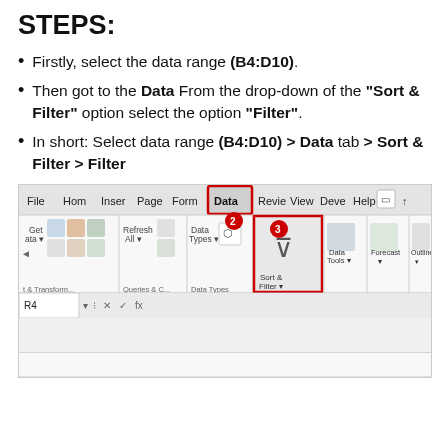STEPS:
Firstly, select the data range (B4:D10).
Then got to the Data From the drop-down of the "Sort & Filter" option select the option "Filter".
In short: Select data range (B4:D10) > Data tab > Sort & Filter > Filter
[Figure (screenshot): Screenshot of Microsoft Excel ribbon showing the Data tab highlighted, with Sort & Filter group visible. Numbered callouts 2, 3, and 4 are shown. A red border highlights the Data tab and the Sort & Filter button. A second red border highlights the Filter icon in the row below the ribbon. The formula bar shows R4, and partial spreadsheet columns A and B are visible at the bottom.]